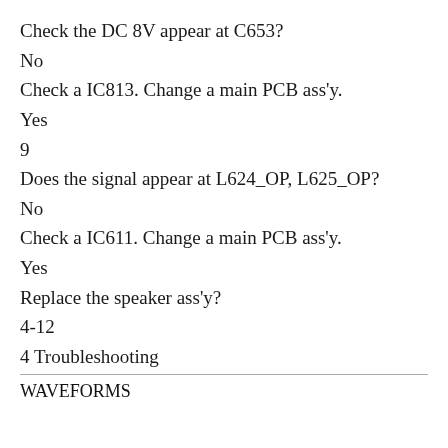Check the DC 8V appear at C653?
No
Check a IC813. Change a main PCB ass'y.
Yes
9
Does the signal appear at L624_OP, L625_OP?
No
Check a IC611. Change a main PCB ass'y.
Yes
Replace the speaker ass'y?
4-12
4 Troubleshooting
WAVEFORMS